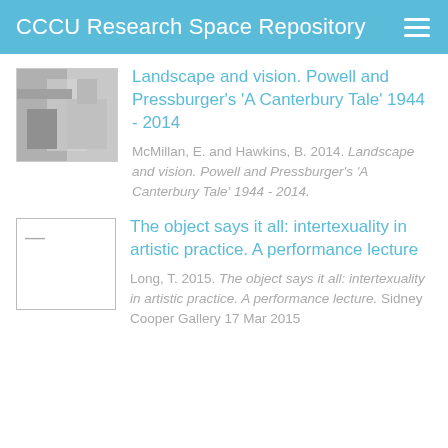CCCU Research Space Repository
[Figure (photo): Thumbnail photograph (black and white) for the Canterbury Tale repository entry]
Landscape and vision. Powell and Pressburger's 'A Canterbury Tale' 1944 - 2014
McMillan, E. and Hawkins, B. 2014. Landscape and vision. Powell and Pressburger's 'A Canterbury Tale' 1944 - 2014.
[Figure (other): Blank document placeholder thumbnail with dash icon]
The object says it all: intertexuality in artistic practice. A performance lecture
Long, T. 2015. The object says it all: intertexuality in artistic practice. A performance lecture. Sidney Cooper Gallery 17 Mar 2015